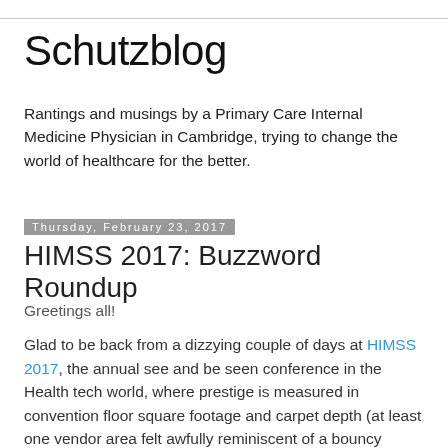Schutzblog
Rantings and musings by a Primary Care Internal Medicine Physician in Cambridge, trying to change the world of healthcare for the better.
Thursday, February 23, 2017
HIMSS 2017: Buzzword Roundup
Greetings all!
Glad to be back from a dizzying couple of days at HIMSS 2017, the annual see and be seen conference in the Health tech world, where prestige is measured in convention floor square footage and carpet depth (at least one vendor area felt awfully reminiscent of a bouncy house).  Having not been in about 10 years, HIMSS has become a rather dizzying affair.